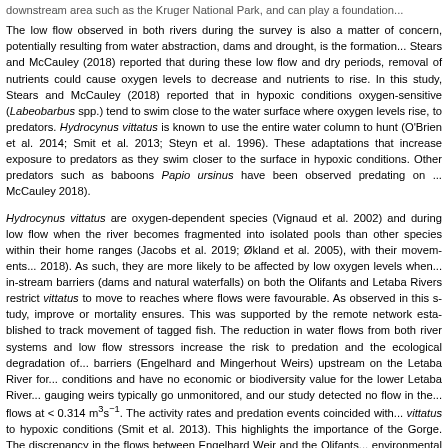downstream area such as the Kruger National Park, and can play a foundation...
The low flow observed in both rivers during the survey is also a matter of concern, potentially resulting from water abstraction, dams and drought, is the formation... Stears and McCauley (2018) reported that during these low flow and dry periods, removal of nutrients could cause oxygen levels to decrease and nutrients to rise. In this study, Stears and McCauley (2018) reported that in hypoxic conditions oxygen-sensitive (Labeobarbus spp.) tend to swim close to the water surface where oxygen levels rise, to predators. Hydrocynus vittatus is known to use the entire water column to hunt (O'Brien et al. 2014; Smit et al. 2013; Steyn et al. 1996). These adaptations that increase exposure to predators as they swim closer to the surface in hypoxic conditions. Other predators such as baboons Papio ursinus have been observed predating on ... McCauley 2018).
Hydrocynus vittatus are oxygen-dependent species (Vignaud et al. 2002) and during low flow when the river becomes fragmented into isolated pools than other species within their home ranges (Jacobs et al. 2019; Økland et al. 2005), with their movements... 2018). As such, they are more likely to be affected by low oxygen levels when... in-stream barriers (dams and natural waterfalls) on both the Olifants and Letaba Rivers restrict vittatus to move to reaches where flows were favourable. As observed in this study, improve or mortality ensures. This was supported by the remote network established to track movement of tagged fish. The reduction in water flows from both river systems and low flow stressors increase the risk to predation and the ecological degradation of... barriers (Engelhard and Mingerhout Weirs) upstream on the Letaba River for... conditions and have no economic or biodiversity value for the lower Letaba River... gauging weirs typically go unmonitored, and our study detected no flow in the... flows at < 0.314 m³s⁻¹. The activity rates and predation events coincided with... vittatus to hypoxic conditions (Smit et al. 2013). This highlights the importance of the Gorge. The discrepancy in the flows between Engelhard Weir and the Olifants... environmental flows downstream and questions the ability of the current infrastructure... environmental flow requirements for the Olifants and Letaba Rivers. With this...